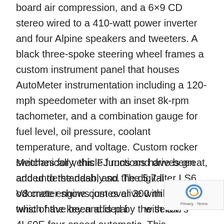board air compression, and a 6×9 CD stereo wired to a 410-watt power inverter and four Alpine speakers and tweeters. A black three-spoke steering wheel frames a custom instrument panel that houses AutoMeter instrumentation including a 120-mph speedometer with an inset 8k-rpm tachometer, and a combination gauge for fuel level, oil pressure, coolant temperature, and voltage. Custom rocker switches for vehicle functions have been added to the dash, and the digital odometer shows just over 300 miles, all of which have been added by the seller.
Mechanically, this FJ runs and drives great, and understandably so. The 5.7-liter LS6 V8 crate engine comes alive with a quick twist of the key and is paired with GM's 4L60E four-speed automatic. This electronic transmission is said to have been fitted with an